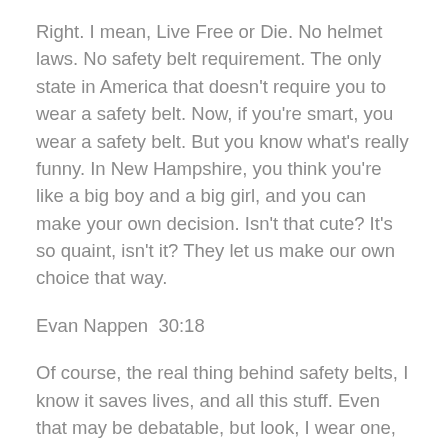Right. I mean, Live Free or Die. No helmet laws. No safety belt requirement. The only state in America that doesn't require you to wear a safety belt. Now, if you're smart, you wear a safety belt. But you know what's really funny. In New Hampshire, you think you're like a big boy and a big girl, and you can make your own decision. Isn't that cute? It's so quaint, isn't it? They let us make our own choice that way.
Evan Nappen  30:18
Of course, the real thing behind safety belts, I know it saves lives, and all this stuff. Even that may be debatable, but look, I wear one, and I think you should, too. But even if you don't want to, that's alright. Because you know what the safety belt law has become. An excuse to pull you over and then engage, which leads to searches and privacy invasion. That's what a lot of these laws do. They